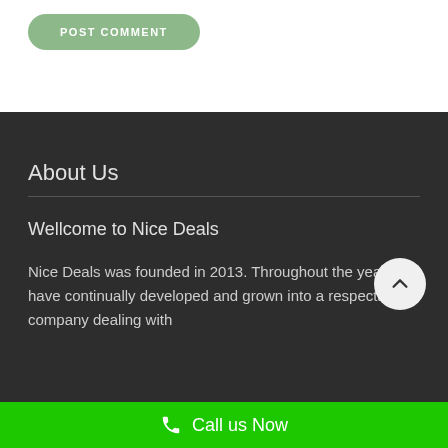POST COMMENT
About Us
Wellcome to Nice Deals
Nice Deals was founded in 2013. Throughout the year we have continually developed and grown into a respectable company dealing with
Call us Now